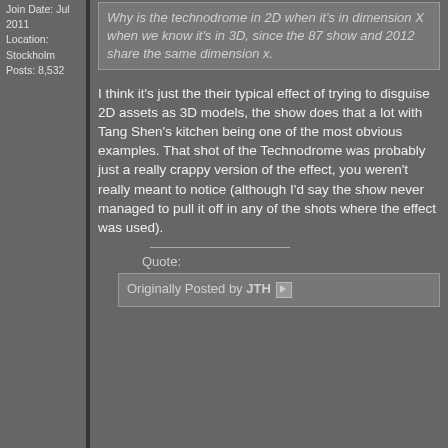Join Date: Jul 2011
Location: Stockholm
Posts: 8,532
Why is the technodrome in 2D when it's in dimension X when we know it's in 3D, since the 87 show and 2012 share the same dimension x.
I think it's just the their typical effect of trying to disguise 2D assets as 3D models, the show does that a lot with Tang Shen's kitchen being one of the most obvious examples. That shot of the Technodrome was probably just a really crappy version of the effect, you weren't really meant to notice (although I'd say the show never managed to pull it off in any of the shots where the effect was used).
Quote:
Originally Posted by JTH